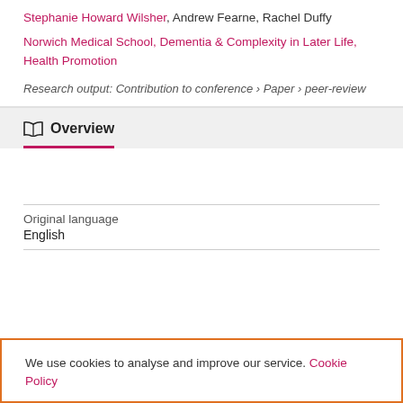Stephanie Howard Wilsher, Andrew Fearne, Rachel Duffy
Norwich Medical School, Dementia & Complexity in Later Life, Health Promotion
Research output: Contribution to conference › Paper › peer-review
Overview
Original language
English
We use cookies to analyse and improve our service. Cookie Policy